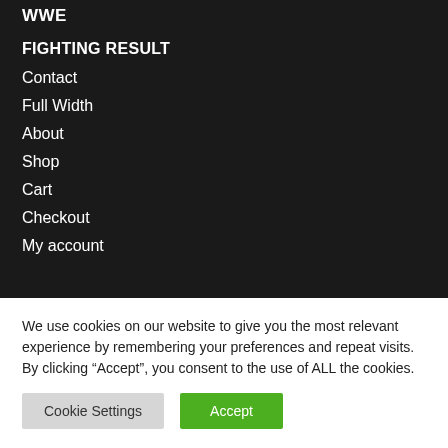WWE
FIGHTING RESULT
Contact
Full Width
About
Shop
Cart
Checkout
My account
We use cookies on our website to give you the most relevant experience by remembering your preferences and repeat visits. By clicking “Accept”, you consent to the use of ALL the cookies.
Cookie Settings | Accept